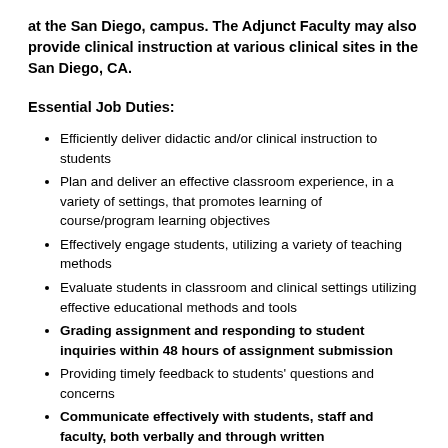at the San Diego, campus. The Adjunct Faculty may also provide clinical instruction at various clinical sites in the San Diego, CA.
Essential Job Duties:
Efficiently deliver didactic and/or clinical instruction to students
Plan and deliver an effective classroom experience, in a variety of settings, that promotes learning of course/program learning objectives
Effectively engage students, utilizing a variety of teaching methods
Evaluate students in classroom and clinical settings utilizing effective educational methods and tools
Grading assignment and responding to student inquiries within 48 hours of assignment submission
Providing timely feedback to students' questions and concerns
Communicate effectively with students, staff and faculty, both verbally and through written communication
Focus on student-centered learning in all aspects of curriculum
Minimum Qualifications:
Bachelor's degree in Nursing from a nationally or regionally accredited